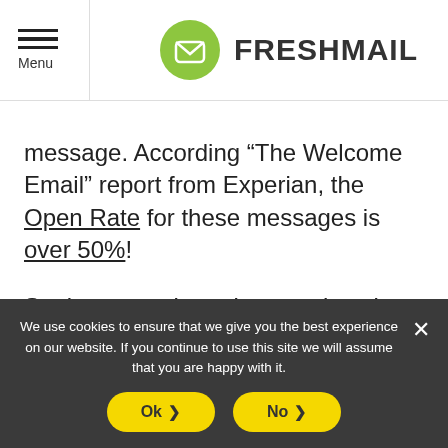Menu | FRESHMAIL
message. According “The Welcome Email” report from Experian, the Open Rate for these messages is over 50%!
Setting up and running a welcoming autoresponder is very easy and leaving it out just diminishes the potential of your email marketing campaigns.
We use cookies to ensure that we give you the best experience on our website. If you continue to use this site we will assume that you are happy with it.